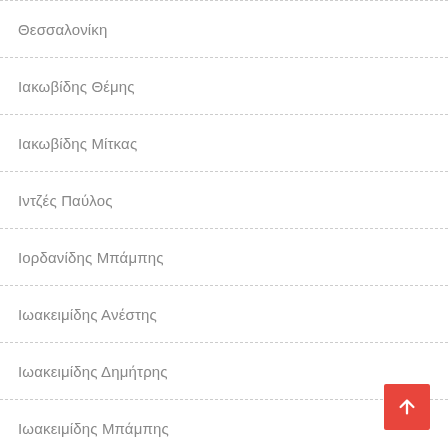Θεσσαλονίκη
Ιακωβίδης Θέμης
Ιακωβίδης Μίτκας
Ιντζές Παύλος
Ιορδανίδης Μπάμπης
Ιωακειμίδης Ανέστης
Ιωακειμίδης Δημήτρης
Ιωακειμίδης Μπάμπης
Ιωαννίδης Γιώργος
Ιωαννίδης Λάζος
Ιωαννίδης Νίκος
Ιωαννίδης Στέλιος